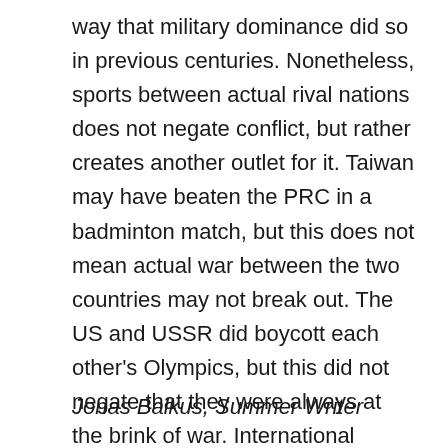way that military dominance did so in previous centuries. Nonetheless, sports between actual rival nations does not negate conflict, but rather creates another outlet for it. Taiwan may have beaten the PRC in a badminton match, but this does not mean actual war between the two countries may not break out. The US and USSR did boycott each other's Olympics, but this did not negate that they were always at the brink of war. International tournaments, in many scenarios, are simply the modern, peaceful rendition of the age-old desire for nations to best each other.
Jonas Balkus, Summer Writer